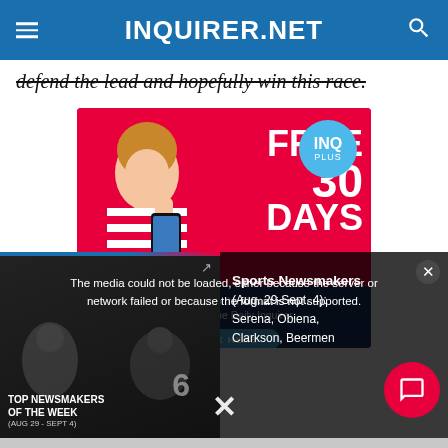INQUIRER.NET
defend the lead and hopefully win this race.
[Figure (advertisement): INQ Plus advertisement banner on red background featuring a woman holding a smartphone. Text reads: INQ PLUS, FREE 30 DAYS. Get full access to the digital version of the Philippine Daily Inquirer. CLICK HERE]
[Figure (screenshot): Video player overlay showing error message: 'The media could not be loaded, either because the server or network failed or because the format is not supported.' Video thumbnail shows Top Newsmakers of the Week (Aug 29 - Sept 4). Right panel shows text: Sports Newsmakers (Aug. 29-Sept. 4): Serena, Obiena, Clarkson, Beermen]
Sports Newsmakers (Aug. 29-Sept. 4): Serena, Obiena, Clarkson, Beermen